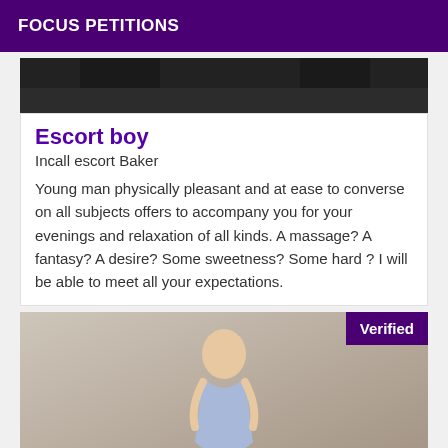FOCUS PETITIONS
[Figure (photo): Dark cropped photo strip showing partial figures at top]
Escort boy
Incall escort Baker
Young man physically pleasant and at ease to converse on all subjects offers to accompany you for your evenings and relaxation of all kinds. A massage? A fantasy? A desire? Some sweetness? Some hard ? I will be able to meet all your expectations.
[Figure (photo): Photo of a young woman in a blue floral dress standing outdoors with a Verified badge overlay in the top right corner]